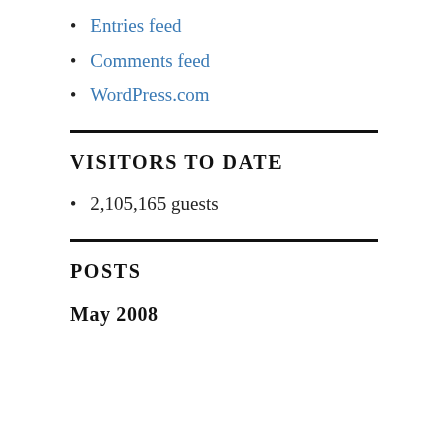Entries feed
Comments feed
WordPress.com
VISITORS TO DATE
2,105,165 guests
POSTS
May 2008